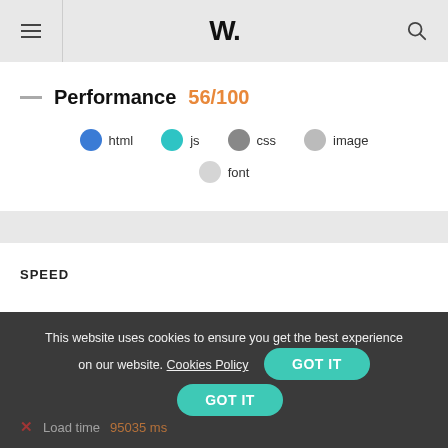W.
Performance 56/100
[Figure (infographic): Legend showing resource types: html (blue dot), js (teal dot), css (gray dot), image (light gray dot), font (lighter gray dot)]
SPEED
This website uses cookies to ensure you get the best experience on our website. Cookies Policy  GOT IT
Load time  95035 ms